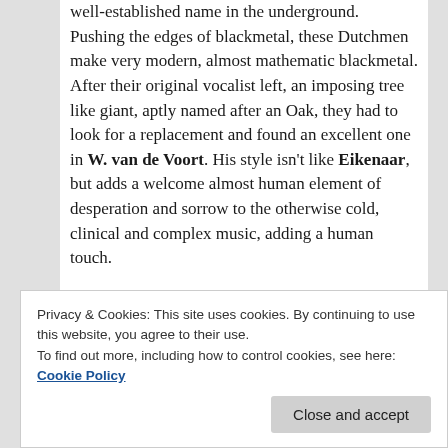well-established name in the underground. Pushing the edges of blackmetal, these Dutchmen make very modern, almost mathematic blackmetal. After their original vocalist left, an imposing tree like giant, aptly named after an Oak, they had to look for a replacement and found an excellent one in W. van de Voort. His style isn't like Eikenaar, but adds a welcome almost human element of desperation and sorrow to the otherwise cold, clinical and complex music, adding a human touch.
Next on the main stage, we get the notorious Swedish Shining, not to be confused with their Norwegian jazzy namesakes. I'd never seen this Shining live but had heard they were notorious of Niklas provocative...
Privacy & Cookies: This site uses cookies. By continuing to use this website, you agree to their use.
To find out more, including how to control cookies, see here: Cookie Policy
Close and accept